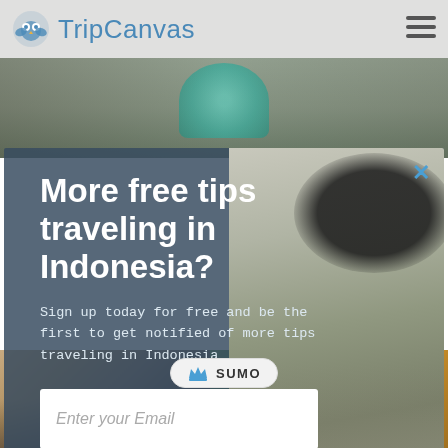[Figure (screenshot): TripCanvas website header with logo and hamburger menu on gray background]
[Figure (photo): Background banner photo with craft/art items on wooden surface]
More free tips traveling in Indonesia?
Sign up today for free and be the first to get notified of more tips traveling in Indonesia
Enter your Email
Free Subscribe
no, thanks
[Figure (photo): Three young women smiling outdoors near water, one holding a black umbrella]
[Figure (photo): Bottom strip: left photo shows people at outdoor gathering; right photo shows colorful outdoor furniture/structures on grass]
[Figure (logo): SUMO badge with crown icon]